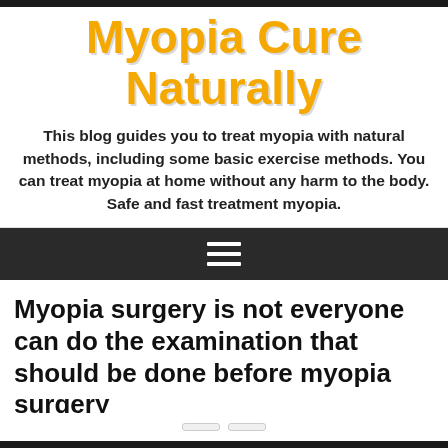Myopia Cure Naturally
This blog guides you to treat myopia with natural methods, including some basic exercise methods. You can treat myopia at home without any harm to the body. Safe and fast treatment myopia.
[Figure (other): Dark navigation bar with hamburger menu icon (three horizontal white lines)]
Myopia surgery is not everyone can do the examination that should be done before myopia surgery